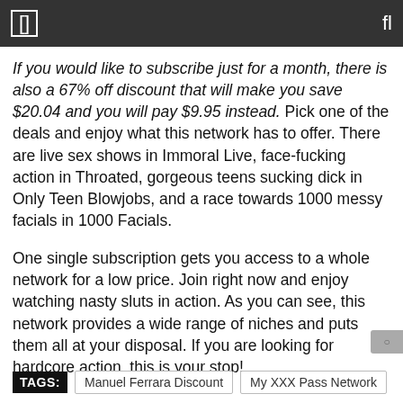If you would like to subscribe just for a month, there is also a 67% off discount that will make you save $20.04 and you will pay $9.95 instead. Pick one of the deals and enjoy what this network has to offer. There are live sex shows in Immoral Live, face-fucking action in Throated, gorgeous teens sucking dick in Only Teen Blowjobs, and a race towards 1000 messy facials in 1000 Facials.
One single subscription gets you access to a whole network for a low price. Join right now and enjoy watching nasty sluts in action. As you can see, this network provides a wide range of niches and puts them all at your disposal. If you are looking for hardcore action, this is your stop!
TAGS: Manuel Ferrara Discount  My XXX Pass Network